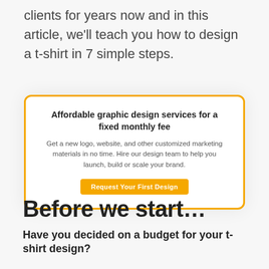clients for years now and in this article, we'll teach you how to design a t-shirt in 7 simple steps.
[Figure (infographic): Promotional card with orange border: 'Affordable graphic design services for a fixed monthly fee'. Subtext: 'Get a new logo, website, and other customized marketing materials in no time. Hire our design team to help you launch, build or scale your brand.' Orange button: 'Request Your First Design']
Before we start…
Have you decided on a budget for your t-shirt design?